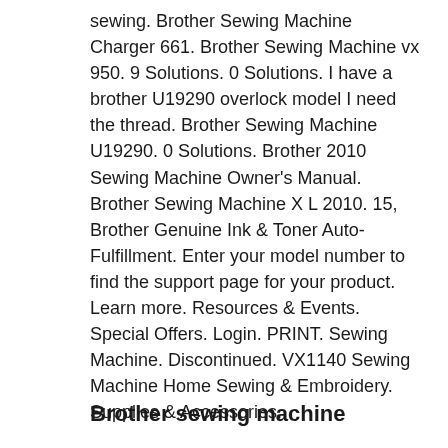sewing. Brother Sewing Machine Charger 661. Brother Sewing Machine vx 950. 9 Solutions. 0 Solutions. I have a brother U19290 overlock model I need the thread. Brother Sewing Machine U19290. 0 Solutions. Brother 2010 Sewing Machine Owner's Manual. Brother Sewing Machine X L 2010. 15, Brother Genuine Ink & Toner Auto-Fulfillment. Enter your model number to find the support page for your product. Learn more. Resources & Events. Special Offers. Login. PRINT. Sewing Machine. Discontinued. VX1140 Sewing Machine Home Sewing & Embroidery. Supplies & Accessories.
Brother sewing machine